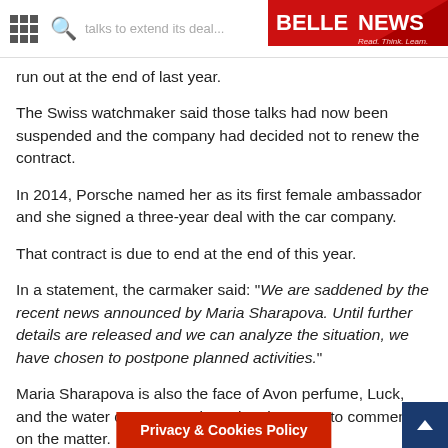BELLENEWS — Read. Think. Learn.
run out at the end of last year.
The Swiss watchmaker said those talks had now been suspended and the company had decided not to renew the contract.
In 2014, Porsche named her as its first female ambassador and she signed a three-year deal with the car company.
That contract is due to end at the end of this year.
In a statement, the carmaker said: "We are saddened by the recent news announced by Maria Sharapova. Until further details are released and we can analyze the situation, we have chosen to postpone planned activities."
Maria Sharapova is also the face of Avon perfume, Luck, and the water company Evian. They have yet to comment on the matter.
She tested positive for meldonium, a substance she said she had been taking since 2006 for health is…
Privacy & Cookies Policy